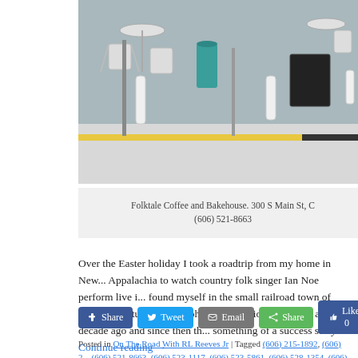[Figure (photo): Outdoor seating area of Folktale Coffee and Bakehouse, showing tables, chairs, a teal trash can, and a sidewalk with yellow curb marking.]
Folktale Coffee and Bakehouse. 300 S Main St, C
(606) 521-8663
Over the Easter holiday I took a roadtrip from my home in New... Appalachia to watch country folk singer Ian Noe perform live i... found myself in the small railroad town of Corbin, Kentucky. T... alcohol consumption legal over a decade ago and since then th... something of a success story. Continue reading →
Posted in On The Road With RL Reeves Jr | Tagged (606) 215-1892, (606) 2... (606) 521-8663, (606) 523-1117, (606) 523-5861, (606) 528-1354, (606) 528-... Depot On Main, Dry County Clothing, Folktale Coffee and Bakehouse, Gibs...